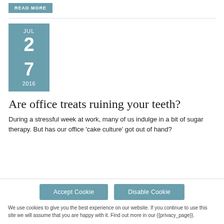READ MORE
[Figure (other): Date block showing JUL 2, 7, 2016]
Are office treats ruining your teeth?
During a stressful week at work, many of us indulge in a bit of sugar therapy. But has our office ‘cake culture’ got out of hand?
Accept Cookie
Disable Cookie
We use cookies to give you the best experience on our website. If you continue to use this site we will assume that you are happy with it. Find out more in our {{privacy_page}}.